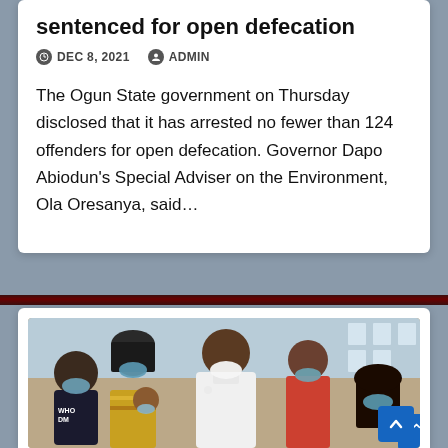sentenced for open defecation
DEC 8, 2021  ADMIN
The Ogun State government on Thursday disclosed that it has arrested no fewer than 124 offenders for open defecation. Governor Dapo Abiodun's Special Adviser on the Environment, Ola Oresanya, said…
[Figure (photo): Group of people wearing face masks, including a man in white attire and several women and children, appearing to be at an outdoor event or official gathering.]